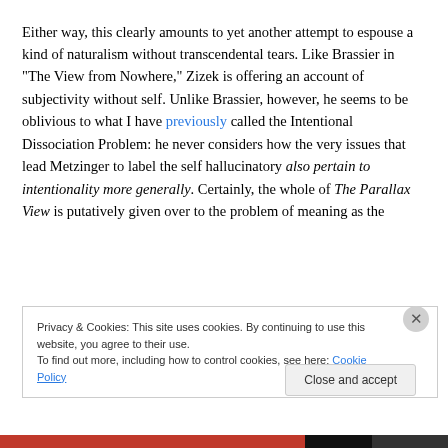Either way, this clearly amounts to yet another attempt to espouse a kind of naturalism without transcendental tears. Like Brassier in “The View from Nowhere,” Zizek is offering an account of subjectivity without self. Unlike Brassier, however, he seems to be oblivious to what I have previously called the Intentional Dissociation Problem: he never considers how the very issues that lead Metzinger to label the self hallucinatory also pertain to intentionality more generally. Certainly, the whole of The Parallax View is putatively given over to the problem of meaning as the
Privacy & Cookies: This site uses cookies. By continuing to use this website, you agree to their use.
To find out more, including how to control cookies, see here: Cookie Policy
Close and accept